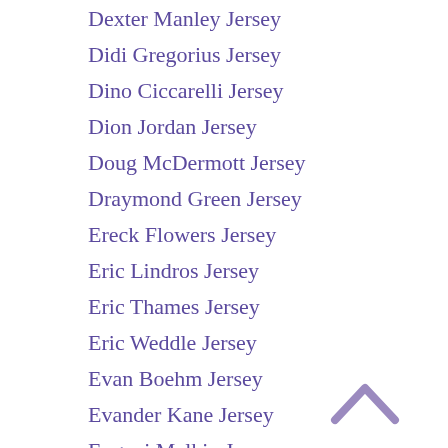Dexter Manley Jersey
Didi Gregorius Jersey
Dino Ciccarelli Jersey
Dion Jordan Jersey
Doug McDermott Jersey
Draymond Green Jersey
Ereck Flowers Jersey
Eric Lindros Jersey
Eric Thames Jersey
Eric Weddle Jersey
Evan Boehm Jersey
Evander Kane Jersey
Evgeni Malkin Jersey
Fred Lane Jersey